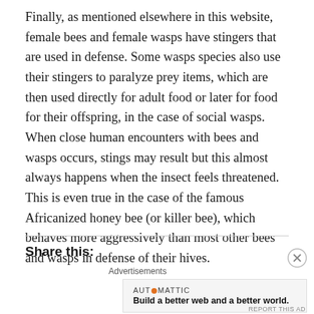Finally, as mentioned elsewhere in this website, female bees and female wasps have stingers that are used in defense. Some wasps species also use their stingers to paralyze prey items, which are then used directly for adult food or later for food for their offspring, in the case of social wasps. When close human encounters with bees and wasps occurs, stings may result but this almost always happens when the insect feels threatened. This is even true in the case of the famous Africanized honey bee (or killer bee), which behaves more aggressively than most other bees and wasps in defense of their hives.
Share this:
Advertisements
AUTOMATTIC
Build a better web and a better world.